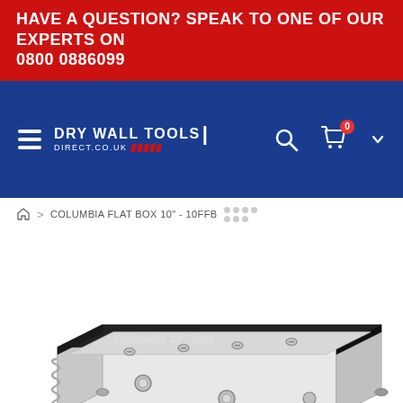HAVE A QUESTION? SPEAK TO ONE OF OUR EXPERTS ON 0800 0886099
[Figure (logo): Dry Wall Tools Direct logo with hamburger menu, search icon, and cart icon on blue navigation bar]
COLUMBIA FLAT BOX 10" - 10FFB
[Figure (photo): Close-up photo of Columbia 10 inch flat box drywall finishing tool, showing stainless steel body with spring mechanism and adjustment screws, with Columbia 10 Box label on black trim]